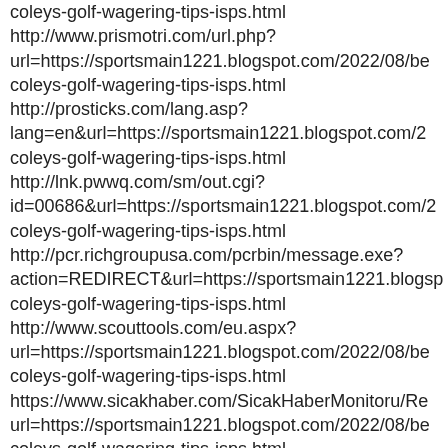coleys-golf-wagering-tips-isps.html http://www.prismotri.com/url.php?url=https://sportsmain1221.blogspot.com/2022/08/be coleys-golf-wagering-tips-isps.html
http://prosticks.com/lang.asp?lang=en&url=https://sportsmain1221.blogspot.com/2 coleys-golf-wagering-tips-isps.html
http://lnk.pwwq.com/sm/out.cgi?id=00686&url=https://sportsmain1221.blogspot.com/2 coleys-golf-wagering-tips-isps.html
http://pcr.richgroupusa.com/pcrbin/message.exe?action=REDIRECT&url=https://sportsmain1221.blogsp coleys-golf-wagering-tips-isps.html
http://www.scouttools.com/eu.aspx?url=https://sportsmain1221.blogspot.com/2022/08/be coleys-golf-wagering-tips-isps.html
https://www.sicakhaber.com/SicakHaberMonitoru/Re url=https://sportsmain1221.blogspot.com/2022/08/be coleys-golf-wagering-tips-isps.html
https://ullafyr.com/gjestebok/go.php?url=https://sportsmain1221.blogspot.com/2022/08/be